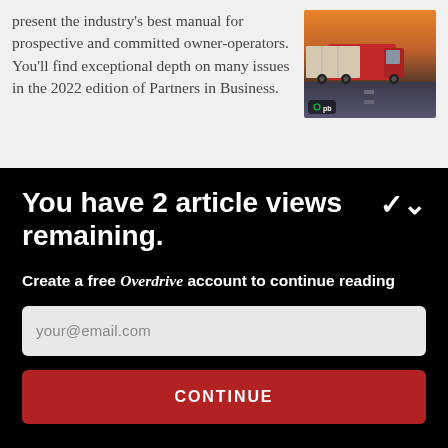present the industry's best manual for prospective and committed owner-operators. You'll find exceptional depth on many issues in the 2022 edition of Partners in Business.
[Figure (photo): Photo of a red semi-truck on a highway at dusk, with a 'pb' watermark overlay in the bottom left corner of the image.]
You have 2 article views remaining.
Create a free Overdrive account to continue reading
your@email.com
CONTINUE